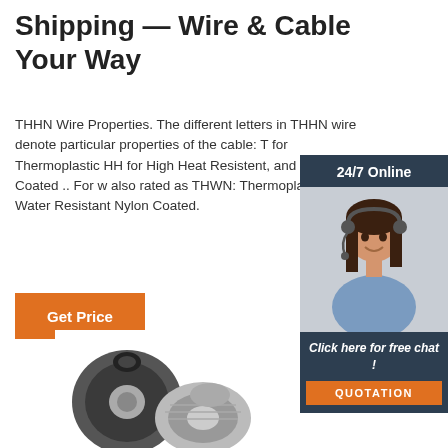Shipping — Wire & Cable Your Way
THHN Wire Properties. The different letters in THHN wire denote particular properties of the cable: T for Thermoplastic HH for High Heat Resistent, and N for Nylon Coated .. For w also rated as THWN: Thermoplastic Heat & Water Resistant Nylon Coated.
[Figure (photo): Customer service representative with headset, 24/7 Online chat widget with QUOTATION button]
Get Price
[Figure (photo): Wire cable connectors/hardware at the bottom of the page]